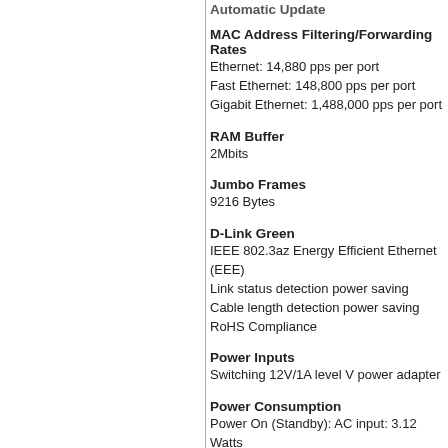Automatic Update
MAC Address Filtering/Forwarding Rates
Ethernet: 14,880 pps per port
Fast Ethernet: 148,800 pps per port
Gigabit Ethernet: 1,488,000 pps per port
RAM Buffer
2Mbits
Jumbo Frames
9216 Bytes
D-Link Green
IEEE 802.3az Energy Efficient Ethernet (EEE)
Link status detection power saving
Cable length detection power saving
RoHS Compliance
Power Inputs
Switching 12V/1A level V power adapter
Power Consumption
Power On (Standby): AC input: 3.12 Watts
Power Max.: AC input: 7.89 Watts
Heat Dissipation
Power On (Standby): AC input: 10.65 BTU/h
Power Max.: AC input: 26.92 BTU/h
MTBF
527,308 hours